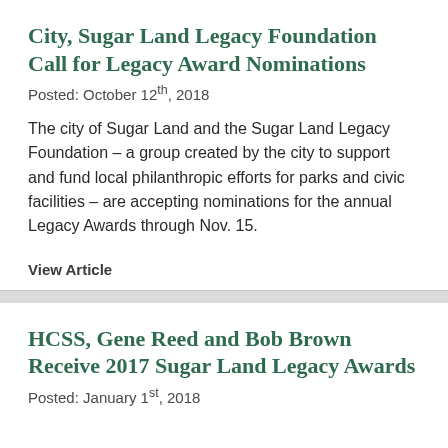City, Sugar Land Legacy Foundation Call for Legacy Award Nominations
Posted: October 12th, 2018
The city of Sugar Land and the Sugar Land Legacy Foundation – a group created by the city to support and fund local philanthropic efforts for parks and civic facilities – are accepting nominations for the annual Legacy Awards through Nov. 15.
View Article
HCSS, Gene Reed and Bob Brown Receive 2017 Sugar Land Legacy Awards
Posted: January 1st, 2018